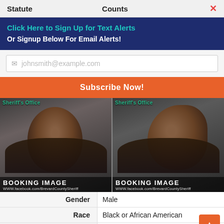Statute    Counts
Click Here to Sign Up for Text Alerts
Or Signup Below For Email Alerts!
johnsmith@example.com
Subscribe Now!
[Figure (photo): Two booking photos (mugshots) side by side from the Brevard County Sheriff's Office. Both show the same Black male individual — a front-facing photo on the left and a side profile on the right. Both images are labeled 'BOOKING IMAGE' with the URL www.facebook.com/BrevardCountySheriff.]
| Field | Value |
| --- | --- |
| Gender | Male |
| Race | Black or African American |
| DOB | 11/10/1980 |